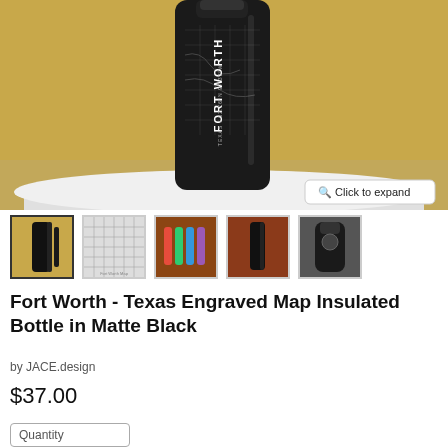[Figure (photo): A black insulated bottle with 'Fort Worth' engraved map design on a white round table, yellow chair in background.]
[Figure (photo): Thumbnail 1: black bottle with yellow background (active/selected)]
[Figure (photo): Thumbnail 2: close-up of engraved map texture in grey]
[Figure (photo): Thumbnail 3: multiple colorful bottles]
[Figure (photo): Thumbnail 4: black bottle on red/orange sofa]
[Figure (photo): Thumbnail 5: close-up of bottle neck/cap]
Fort Worth - Texas Engraved Map Insulated Bottle in Matte Black
by JACE.design
$37.00
Quantity